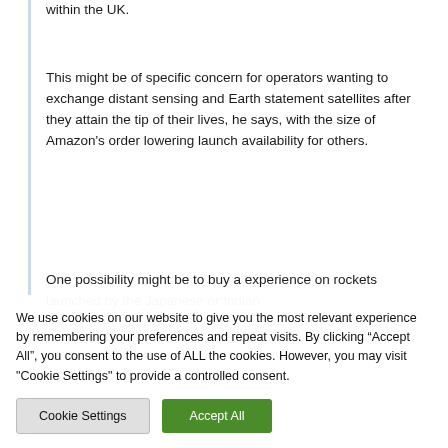within the UK.
This might be of specific concern for operators wanting to exchange distant sensing and Earth statement satellites after they attain the tip of their lives, he says, with the size of Amazon’s order lowering launch availability for others.
One possibility might be to buy a experience on rockets launched by the Japanese or Indian
We use cookies on our website to give you the most relevant experience by remembering your preferences and repeat visits. By clicking “Accept All”, you consent to the use of ALL the cookies. However, you may visit "Cookie Settings" to provide a controlled consent.
Cookie Settings
Accept All